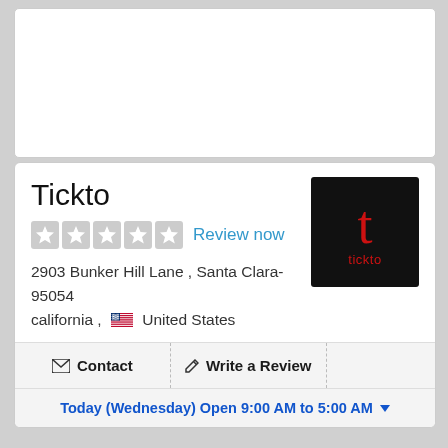[Figure (other): Blank white card area at top of page]
Tickto
2903 Bunker Hill Lane , Santa Clara-95054
california , United States
[Figure (logo): Tickto logo: black background with red letter 't' and red text 'tickto']
Contact   Write a Review
Today (Wednesday) Open 9:00 AM to 5:00 AM
Tickto - Santa Clara
Tickto Inc, a Silicon Valley based intelligent Retail Solution